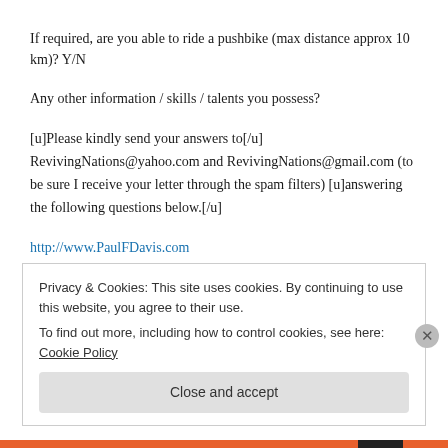If required, are you able to ride a pushbike (max distance approx 10 km)? Y/N
Any other information / skills / talents you possess?
[u]Please kindly send your answers to[/u] RevivingNations@yahoo.com and RevivingNations@gmail.com (to be sure I receive your letter through the spam filters) [u]answering the following questions below.[/u]
http://www.PaulFDavis.com
Privacy & Cookies: This site uses cookies. By continuing to use this website, you agree to their use.
To find out more, including how to control cookies, see here: Cookie Policy